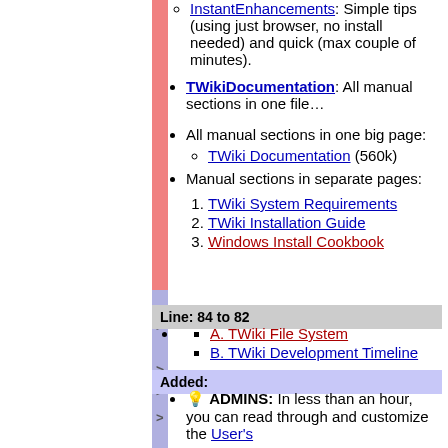InstantEnhancements: Simple tips (using just browser, no install needed) and quick (max couple of minutes).
TWikiDocumentation: All manual sections in one file…
All manual sections in one big page:
TWiki Documentation (560k)
Manual sections in separate pages:
1. TWiki System Requirements
2. TWiki Installation Guide
3. Windows Install Cookbook
Line: 84 to 82
A. TWiki File System
B. TWiki Development Timeline
Added:
💡 ADMINS: In less than an hour, you can read through and customize the User's